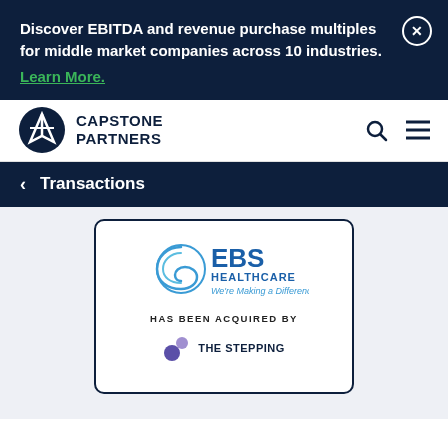Discover EBITDA and revenue purchase multiples for middle market companies across 10 industries.
Learn More.
[Figure (logo): Capstone Partners logo with mountain icon]
< Transactions
[Figure (infographic): Transaction card showing EBS Healthcare 'Has Been Acquired By' The Stepping [Stone Group]]